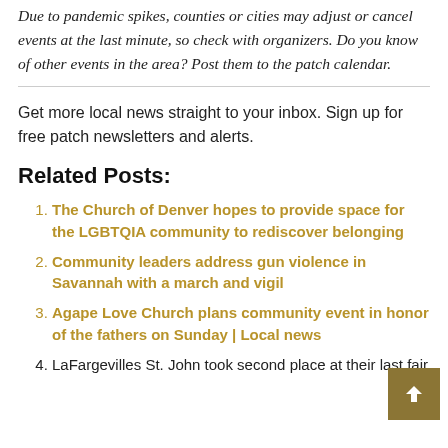Due to pandemic spikes, counties or cities may adjust or cancel events at the last minute, so check with organizers. Do you know of other events in the area? Post them to the patch calendar.
Get more local news straight to your inbox. Sign up for free patch newsletters and alerts.
Related Posts:
The Church of Denver hopes to provide space for the LGBTQIA community to rediscover belonging
Community leaders address gun violence in Savannah with a march and vigil
Agape Love Church plans community event in honor of the fathers on Sunday | Local news
LaFargevilles St. John took second place at their last fair